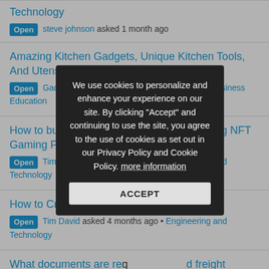Technology | Open  steve johnson asked 1 month ago
Amazing Kitchen Gadgets, Unique Kitchen Tools, And Utensils | Open  Gadgets Accessories asked 2 months ago • Business Education
How to build Decentraland Clone Script using NFT Gaming Platform? | Open  Tim David asked 3 months ago • Engineering and Technology
How to Create Go...Script? | Open  Tim David asked 4 months ago • Engineering and Technology
What documents are required for road freight transport? | Open
[Figure (screenshot): Cookie consent modal overlay with dark background. Text reads: 'We use cookies to personalize and enhance your experience on our site. By clicking "Accept" and continuing to use the site, you agree to the use of cookies as set out in our Privacy Policy and Cookie Policy. more information' with an ACCEPT button below.]